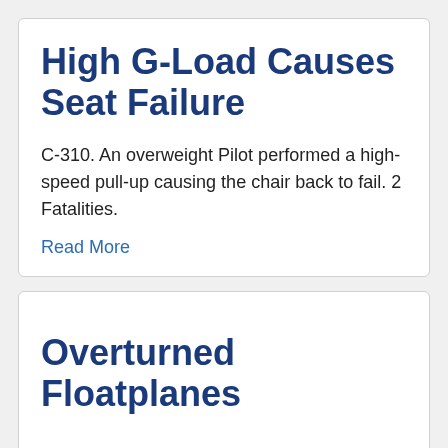High G-Load Causes Seat Failure
C-310. An overweight Pilot performed a high-speed pull-up causing the chair back to fail. 2 Fatalities.
Read More
Overturned Floatplanes